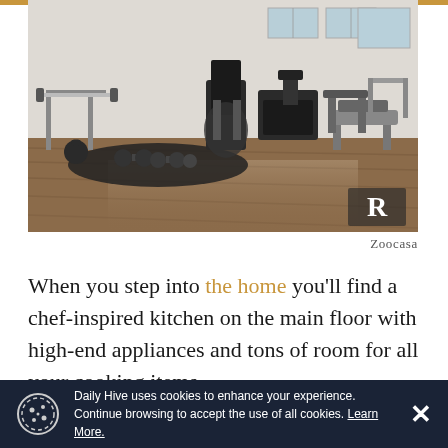[Figure (photo): Interior home gym with hardwood floors, various exercise equipment including an elliptical machine, treadmill, weight bench, barbell rack, dumbbells, and kettlebells. Room has high windows letting in natural light. Realtor logo watermark in bottom right corner.]
Zoocasa
When you step into the home you'll find a chef-inspired kitchen on the main floor with high-end appliances and tons of room for all your cooking items.
Daily Hive uses cookies to enhance your experience. Continue browsing to accept the use of all cookies. Learn More.